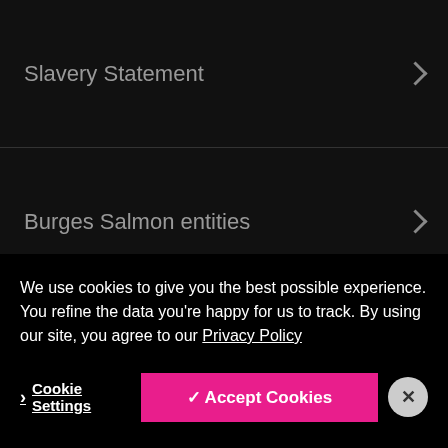Slavery Statement
Burges Salmon entities
BS homeworking
Frauds and Scams
Clientspace
We use cookies to give you the best possible experience. You refine the data you're happy for us to track. By using our site, you agree to our Privacy Policy
Cookie Settings | ✓ Accept Cookies | ×